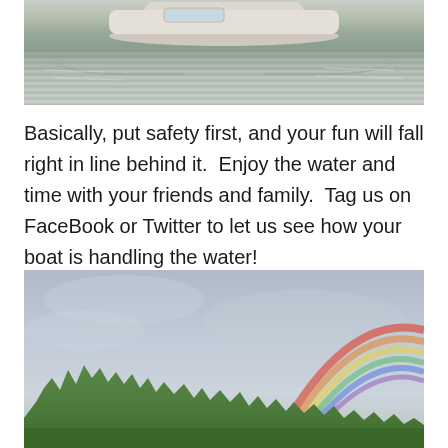[Figure (photo): Partial view of a boat on water with wake and reflections, cropped at top]
Basically, put safety first, and your fun will fall right in line behind it.  Enjoy the water and time with your friends and family.  Tag us on FaceBook or Twitter to let us see how your boat is handling the water!
[Figure (photo): Outdoor landscape photo showing a rainbow over a tree line against a cloudy sky]